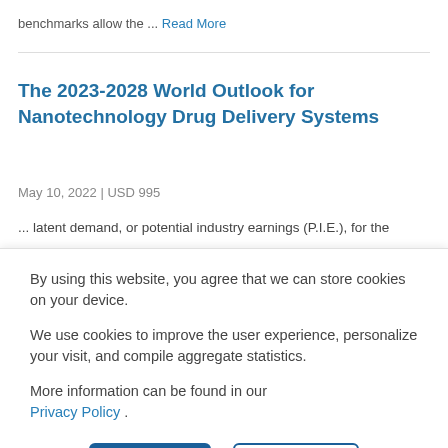benchmarks allow the ... Read More
The 2023-2028 World Outlook for Nanotechnology Drug Delivery Systems
May 10, 2022 | USD 995
... latent demand, or potential industry earnings (P.I.E.), for the
By using this website, you agree that we can store cookies on your device.

We use cookies to improve the user experience, personalize your visit, and compile aggregate statistics.

More information can be found in our Privacy Policy .
Accept  Decline